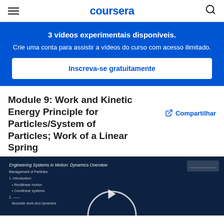coursera
3 vídeos experimentais disponíveis. Crie uma conta para assistir a vídeos do curso com acesso ilimitado.
Inscreva-se gratuitamente
Module 9: Work and Kinetic Energy Principle for Particles/System of Particles; Work of a Linear Spring
Compartilhar
[Figure (screenshot): Video thumbnail showing a dark blue background with the Coursera course content slide for Engineering Systems in Motion: Dynamics Overview, with a white circle graphic partially visible at the bottom center.]